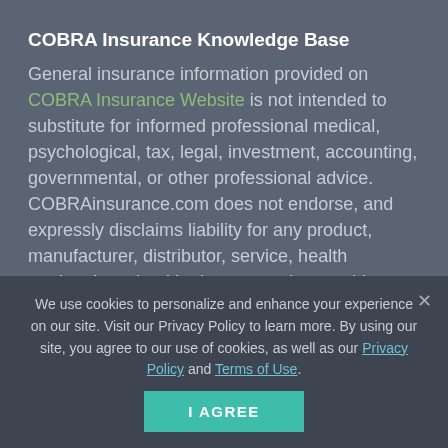COBRA Insurance Knowledge Base
General insurance information provided on COBRA Insurance Website is not intended to substitute for informed professional medical, psychological, tax, legal, investment, accounting, governmental, or other professional advice. COBRAinsurance.com does not endorse, and expressly disclaims liability for any product, manufacturer, distributor, service, health marketplace, health plan, or service provider mentioned or any opinion expressed in the website. Replies, comments, or information gathered on COBRAinsurance.com website may not be accurate, but are intended to be helpful. Shannon Kennedy. Licensed Agent. CA Licensed #0D43589
We use cookies to personalize and enhance your experience on our site. Visit our Privacy Policy to learn more. By using our site, you agree to our use of cookies, as well as our Privacy Policy and Terms of Use.
I AGREE